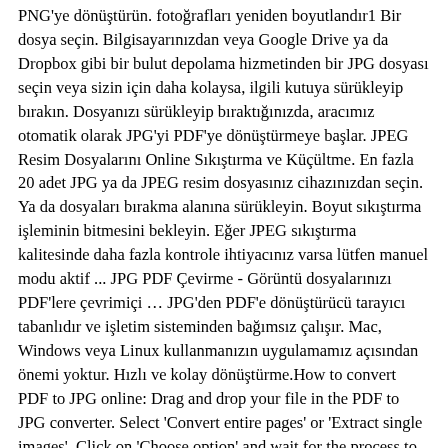PNG'ye dönüştürün. fotoğrafları yeniden boyutlandır1 Bir dosya seçin. Bilgisayarınızdan veya Google Drive ya da Dropbox gibi bir bulut depolama hizmetinden bir JPG dosyası seçin veya sizin için daha kolaysa, ilgili kutuya sürükleyip bırakın. Dosyanızı sürükleyip bıraktığınızda, aracımız otomatik olarak JPG'yi PDF'ye dönüştürmeye başlar. JPEG Resim Dosyalarını Online Sıkıştırma ve Küçültme. En fazla 20 adet JPG ya da JPEG resim dosyasınız cihazınızdan seçin. Ya da dosyaları bırakma alanına sürükleyin. Boyut sıkıştırma işleminin bitmesini bekleyin. Eğer JPEG sıkıştırma kalitesinde daha fazla kontrole ihtiyacınız varsa lütfen manuel modu aktif ... JPG PDF Çevirme - Görüntü dosyalarınızı PDF'lere çevrimiçi … JPG'den PDF'e dönüştürücü tarayıcı tabanlıdır ve işletim sisteminden bağımsız çalışır. Mac, Windows veya Linux kullanmanızın uygulamamız açısından önemi yoktur. Hızlı ve kolay dönüştürme.How to convert PDF to JPG online: Drag and drop your file in the PDF to JPG converter. Select 'Convert entire pages' or 'Extract single images'. Click on 'Choose option' and wait for the process to complete. Download the converted files as single JPG files, or collectively in a ZIP file.Fotoğrafı jpeg formatına çevirme programı indir - Nasıl. Video Düzenleme Programı: Online Video Yapma Programı. En İyi Resim ve Fotoğraf Formatı Dönüştürme Programları - Tamindir. Resmi veya başka bir grafiği ayrı bir dosya olarak kaydetme. Windows Movie Maker 2. Yükle.AhaView bir resim görüntüleme ve dönüştürme yazılımıdır. Özellikleri Thumbnail olarak resimleri